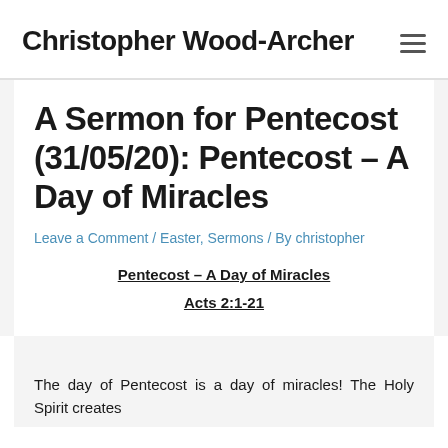Christopher Wood-Archer
A Sermon for Pentecost (31/05/20): Pentecost – A Day of Miracles
Leave a Comment / Easter, Sermons / By christopher
Pentecost – A Day of Miracles
Acts 2:1-21
The day of Pentecost is a day of miracles! The Holy Spirit creates